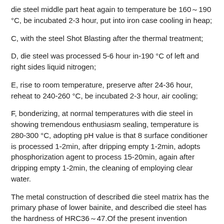die steel middle part heat again to temperature be 160～190 °C, be incubated 2-3 hour, put into iron case cooling in heap;
C, with the steel Shot Blasting after the thermal treatment;
D, die steel was processed 5-6 hour in-190 °C of left and right sides liquid nitrogen;
E, rise to room temperature, preserve after 24-36 hour, reheat to 240-260 °C, be incubated 2-3 hour, air cooling;
F, bonderizing, at normal temperatures with die steel in showing tremendous enthusiasm sealing, temperature is 280-300 °C, adopting pH value is that 8 surface conditioner is processed 1-2min, after dripping empty 1-2min, adopts phosphorization agent to process 15-20min, again after dripping empty 1-2min, the cleaning of employing clear water.
The metal construction of described die steel matrix has the primary phase of lower bainite, and described die steel has the hardness of HRC36～47.Of the present invention PowerPerformance detection data is as follows: